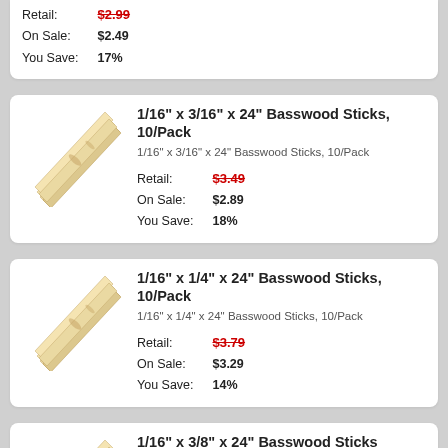Retail: $2.99 (strikethrough)
On Sale: $2.49
You Save: 17%
[Figure (photo): Stack of basswood sticks viewed from the side]
1/16" x 3/16" x 24" Basswood Sticks, 10/Pack
1/16" x 3/16" x 24" Basswood Sticks, 10/Pack
Retail: $3.49 (strikethrough)
On Sale: $2.89
You Save: 18%
[Figure (photo): Stack of basswood sticks viewed from the side]
1/16" x 1/4" x 24" Basswood Sticks, 10/Pack
1/16" x 1/4" x 24" Basswood Sticks, 10/Pack
Retail: $3.79 (strikethrough)
On Sale: $3.29
You Save: 14%
[Figure (photo): Stack of basswood sticks viewed from the side]
1/16" x 3/8" x 24" Basswood Sticks
1/16" x 3/8" x 24" Basswood Stick
Retail: $0.59 (strikethrough)
On Sale: $0.49